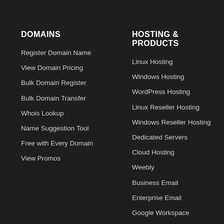DOMAINS
Register Domain Name
View Domain Pricing
Bulk Domain Register
Bulk Domain Transfer
Whois Lookup
Name Suggestion Tool
Free with Every Domain
View Promos
HOSTING & PRODUCTS
Linux Hosting
Windows Hosting
WordPress Hosting
Linux Reseller Hosting
Windows Reseller Hosting
Dedicated Servers
Cloud Hosting
Weebly
Business Email
Enterprise Email
Google Workspace
SSL Certificates
Sitelock